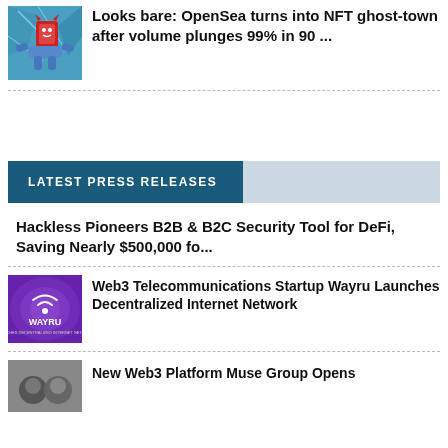[Figure (illustration): Colorful animated illustration of NFT/OpenSea themed characters with blue cracked background and a red card character]
Looks bare: OpenSea turns into NFT ghost-town after volume plunges 99% in 90 ...
LATEST PRESS RELEASES
Hackless Pioneers B2B & B2C Security Tool for DeFi, Saving Nearly $500,000 fo...
[Figure (logo): Wayru logo on purple swirling background with text WAYRU and subtitle about web3 telecommunications startup launching decentralized internet network]
Web3 Telecommunications Startup Wayru Launches Decentralized Internet Network
New Web3 Platform Muse Group Opens